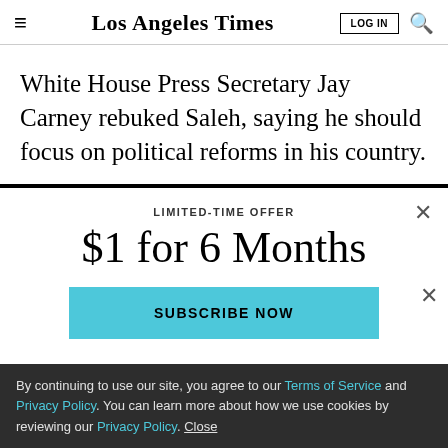Los Angeles Times
White House Press Secretary Jay Carney rebuked Saleh, saying he should focus on political reforms in his country.
LIMITED-TIME OFFER
$1 for 6 Months
SUBSCRIBE NOW
By continuing to use our site, you agree to our Terms of Service and Privacy Policy. You can learn more about how we use cookies by reviewing our Privacy Policy. Close